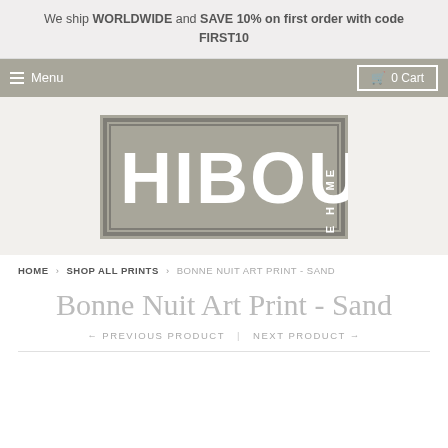We ship WORLDWIDE and SAVE 10% on first order with code FIRST10
Menu  0 Cart
[Figure (logo): Hibou Home logo — large sans-serif text HIBOU with HOME written vertically, all white on grey/taupe background with border]
HOME › SHOP ALL PRINTS › BONNE NUIT ART PRINT - SAND
Bonne Nuit Art Print - Sand
← PREVIOUS PRODUCT  |  NEXT PRODUCT →